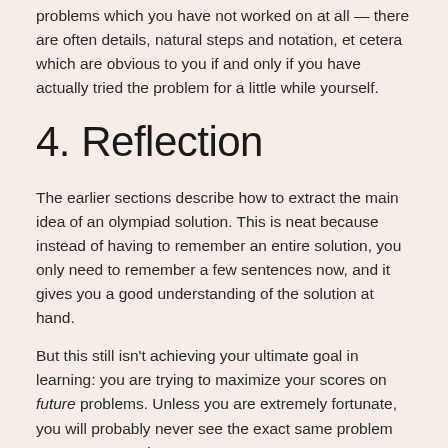problems which you have not worked on at all — there are often details, natural steps and notation, et cetera which are obvious to you if and only if you have actually tried the problem for a little while yourself.
4. Reflection
The earlier sections describe how to extract the main idea of an olympiad solution. This is neat because instead of having to remember an entire solution, you only need to remember a few sentences now, and it gives you a good understanding of the solution at hand.
But this still isn't achieving your ultimate goal in learning: you are trying to maximize your scores on future problems. Unless you are extremely fortunate, you will probably never see the exact same problem on an exam again.